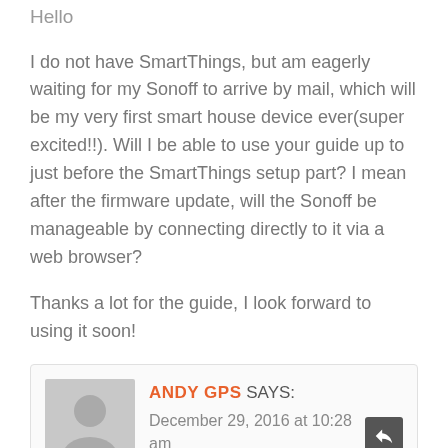Hello
I do not have SmartThings, but am eagerly waiting for my Sonoff to arrive by mail, which will be my very first smart house device ever(super excited!!). Will I be able to use your guide up to just before the SmartThings setup part? I mean after the firmware update, will the Sonoff be manageable by connecting directly to it via a web browser?
Thanks a lot for the guide, I look forward to using it soon!
ANDY GPS SAYS: December 29, 2016 at 10:28 am